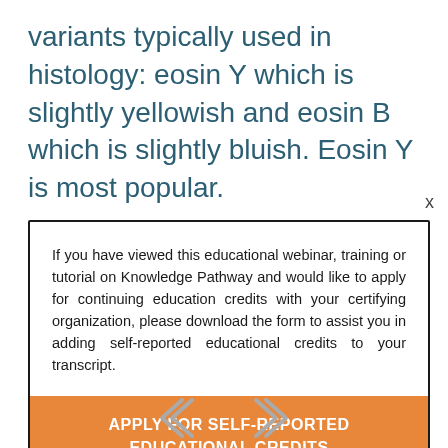variants typically used in histology: eosin Y which is slightly yellowish and eosin B which is slightly bluish. Eosin Y is most popular.
If you have viewed this educational webinar, training or tutorial on Knowledge Pathway and would like to apply for continuing education credits with your certifying organization, please download the form to assist you in adding self-reported educational credits to your transcript.
APPLY FOR SELF-REPORTED EDUCATIONAL CREDITS